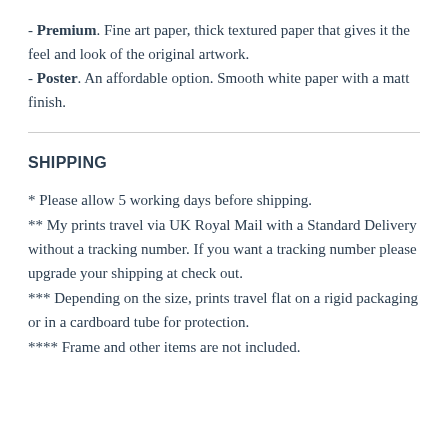- Premium. Fine art paper, thick textured paper that gives it the feel and look of the original artwork.
- Poster. An affordable option. Smooth white paper with a matt finish.
SHIPPING
* Please allow 5 working days before shipping.
** My prints travel via UK Royal Mail with a Standard Delivery without a tracking number. If you want a tracking number please upgrade your shipping at check out.
*** Depending on the size, prints travel flat on a rigid packaging or in a cardboard tube for protection.
**** Frame and other items are not included.